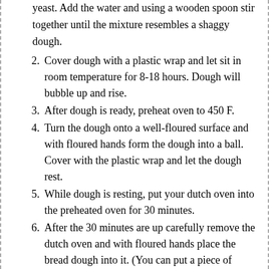(partial) yeast. Add the water and using a wooden spoon stir together until the mixture resembles a shaggy dough.
2. Cover dough with a plastic wrap and let sit in room temperature for 8-18 hours. Dough will bubble up and rise.
3. After dough is ready, preheat oven to 450 F.
4. Turn the dough onto a well-floured surface and with floured hands form the dough into a ball. Cover with the plastic wrap and let the dough rest.
5. While dough is resting, put your dutch oven into the preheated oven for 30 minutes.
6. After the 30 minutes are up carefully remove the dutch oven and with floured hands place the bread dough into it. (You can put a piece of parchment under it if your dutch oven doesn't have an enamel